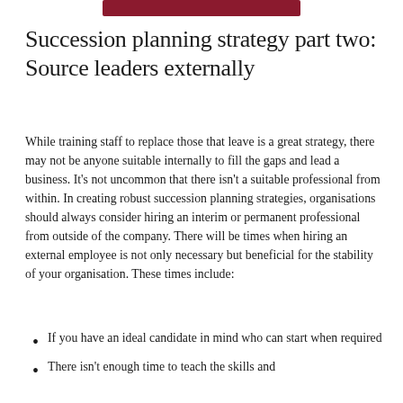[Figure (other): Dark red/maroon horizontal bar at the top center of the page]
Succession planning strategy part two: Source leaders externally
While training staff to replace those that leave is a great strategy, there may not be anyone suitable internally to fill the gaps and lead a business. It’s not uncommon that there isn’t a suitable professional from within. In creating robust succession planning strategies, organisations should always consider hiring an interim or permanent professional from outside of the company. There will be times when hiring an external employee is not only necessary but beneficial for the stability of your organisation. These times include:
If you have an ideal candidate in mind who can start when required
There isn’t enough time to teach the skills and